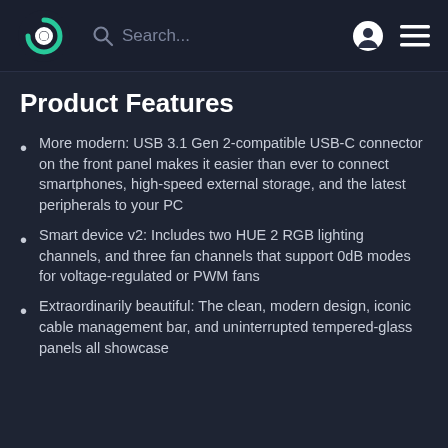Search...
Product Features
More modern: USB 3.1 Gen 2-compatible USB-C connector on the front panel makes it easier than ever to connect smartphones, high-speed external storage, and the latest peripherals to your PC
Smart device v2: Includes two HUE 2 RGB lighting channels, and three fan channels that support 0dB modes for voltage-regulated or PWM fans
Extraordinarily beautiful: The clean, modern design, iconic cable management bar, and uninterrupted tempered-glass panels all showcase